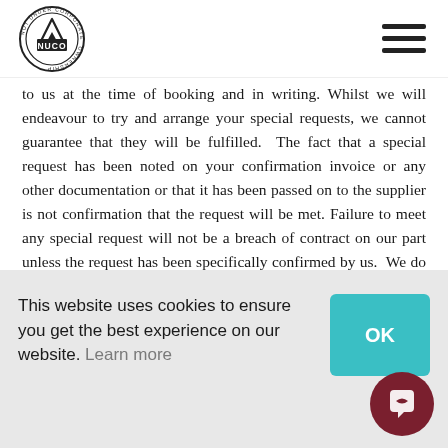[Figure (logo): NUCO circular logo with mountain graphic and text 'NOT UNDER CORPORATE OWNERSHIP' around the border]
to us at the time of booking and in writing. Whilst we will endeavour to try and arrange your special requests, we cannot guarantee that they will be fulfilled. The fact that a special request has been noted on your confirmation invoice or any other documentation or that it has been passed on to the supplier is not confirmation that the request will be met. Failure to meet any special request will not be a breach of contract on our part unless the request has been specifically confirmed by us. We do not accept bookings that are conditional upon any special request being met.
This website uses cookies to ensure you get the best experience on our website. Learn more